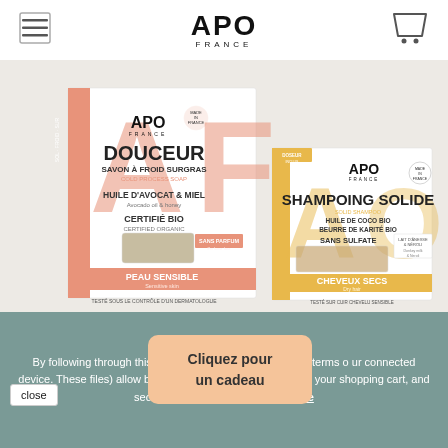APO FRANCE
[Figure (photo): Two APO France product boxes on a light gray background: left box is 'Douceur' savon à froid surgras cold process soap with huile d'avocat & miel, certifié bio, peau sensible; right box is 'Shampoing Solide' solid shampoo with huile de coco bio, beurre de karité bio, sans sulfate, cheveux secs.]
By following through this website, you have to accept the terms of use cookies on your connected device. These cookies (files) allow browser identification from one visit to the next, update your shopping cart, and secure your connection. Learn more
Cliquez pour un cadeau
close